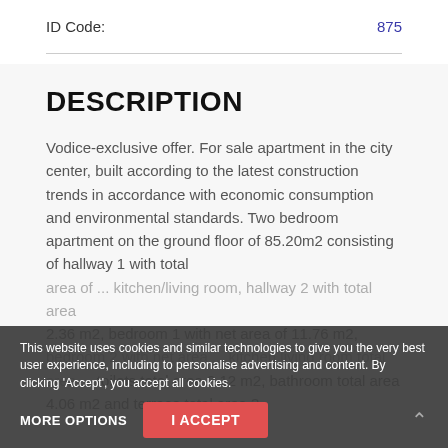| ID Code: | 875 |
DESCRIPTION
Vodice-exclusive offer. For sale apartment in the city center, built according to the latest construction trends in accordance with economic consumption and environmental standards. Two bedroom apartment on the ground floor of 85.20m2 consisting of hallway 1 with total ... 2.36 m2, bedroom 1 with net area of 11.76 m2, ... toilets total area 2.12 m2, bathroom total area 4.06 m2 and terrace total area 3.
This website uses cookies and similar technologies to give you the very best user experience, including to personalise advertising and content. By clicking 'Accept', you accept all cookies.